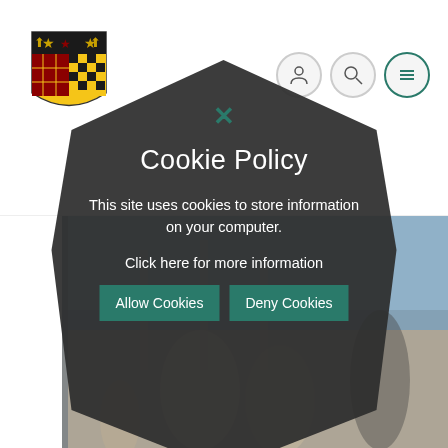[Figure (logo): University shield/crest logo with black and yellow heraldic design, animals and checkerboard pattern]
[Figure (screenshot): Navigation bar icons: user profile circle, search circle, hamburger menu circle, all with teal/green borders]
[Figure (photo): Blurred background photo of people on steps of a classical building with dome]
[Figure (infographic): Dark hexagonal/diamond shaped cookie policy modal overlay with close X button, title, text, and two teal buttons]
Cookie Policy
This site uses cookies to store information on your computer.
Click here for more information
Allow Cookies
Deny Cookies